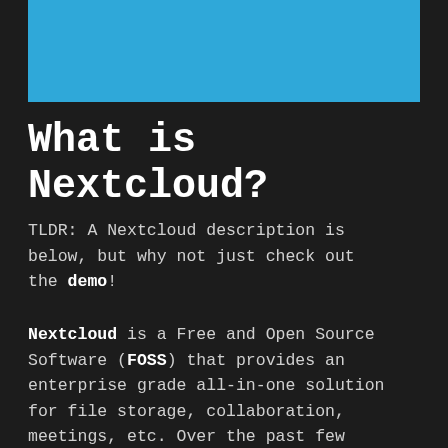[Figure (other): Blue rectangular banner at top of page]
What is Nextcloud?
TLDR: A Nextcloud description is below, but why not just check out the demo!
Nextcloud is a Free and Open Source Software (FOSS) that provides an enterprise grade all-in-one solution for file storage, collaboration, meetings, etc. Over the past few years Nextcloud has come a long way